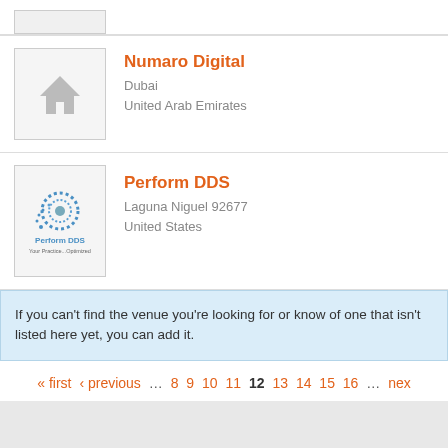[Figure (logo): Partial cropped logo box at top of page]
Numaro Digital
Dubai
United Arab Emirates
[Figure (logo): Numaro Digital placeholder logo with house icon]
Perform DDS
Laguna Niguel 92677
United States
[Figure (logo): Perform DDS logo with circular dotted pattern and text 'Perform DDS Your Practice...Optimized']
If you can't find the venue you're looking for or know of one that isn't listed here yet, you can add it.
« first  ‹ previous  … 8  9  10  11  12  13  14  15  16  … next ›